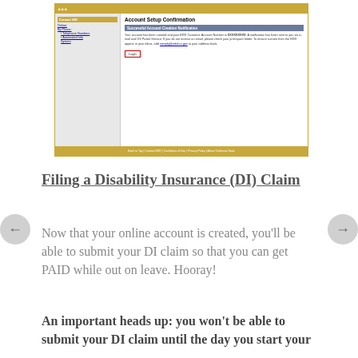[Figure (screenshot): Screenshot of an SDO Customer Account Setup Confirmation page. Shows a left navigation panel with 'Contact SDI' heading and links, and a right content area with 'Account Setup Confirmation' title, a blue notification bar reading 'Successful Account Creation Notification', confirmation text about account creation and a notification email, a blue email link, and a red-outlined 'Login' button. Gold top and bottom bars frame the page.]
Filing a Disability Insurance (DI) Claim
Now that your online account is created, you'll be able to submit your DI claim so that you can get PAID while out on leave. Hooray!
An important heads up: you won't be able to submit your DI claim until the day you start your